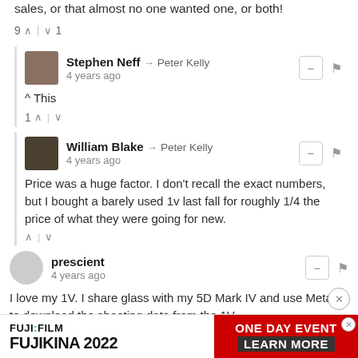sales, or that almost no one wanted one, or both!
9 ↑ | ↓ 1
Stephen Neff → Peter Kelly
4 years ago
^ This
1 ↑ | ↓
William Blake → Peter Kelly
4 years ago
Price was a huge factor. I don't recall the exact numbers, but I bought a barely used 1v last fall for roughly 1/4 the price of what they were going for new.
prescient
4 years ago
I love my 1V. I share glass with my 5D Mark IV and use Meta35 to download the shooting data from the 1V.
[Figure (screenshot): Advertisement banner: FUJIFILM FUJIKINA 2022 ONE DAY EVENT LEARN MORE]